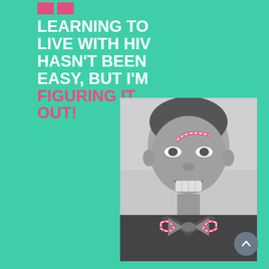[Figure (logo): Two pink/red square logo blocks side by side in upper left]
LEARNING TO LIVE WITH HIV HASN'T BEEN EASY, BUT I'M FIGURING IT OUT!
[Figure (photo): Black and white portrait photo of a young smiling man wearing a bow tie, with pink/red graphic highlight accents on his eyebrow and bow tie]